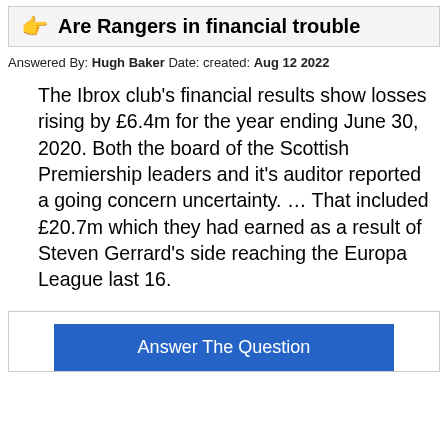Are Rangers in financial trouble
Answered By: Hugh Baker Date: created: Aug 12 2022
The Ibrox club’s financial results show losses rising by £6.4m for the year ending June 30, 2020. Both the board of the Scottish Premiership leaders and it’s auditor reported a going concern uncertainty. … That included £20.7m which they had earned as a result of Steven Gerrard’s side reaching the Europa League last 16.
Answer The Question